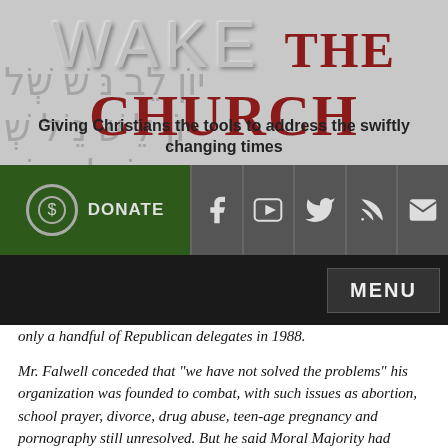WAKE the Church
Giving Christians the tools to address the swiftly changing times
[Figure (screenshot): Navigation bar with DONATE button (green background with coin icon), and social media icon buttons for Facebook, YouTube, Twitter, RSS, and Email on dark grey background]
[Figure (screenshot): Black navigation bar with MENU button on the right]
only a handful of Republican delegates in 1988.
Mr. Falwell conceded that "we have not solved the problems" his organization was founded to combat, with such issues as abortion, school prayer, divorce, drug abuse, teen-age pregnancy and pornography still unresolved. But he said Moral Majority had played an important role in energizing religious conservatives and had helped change the terms of political debate in the country.